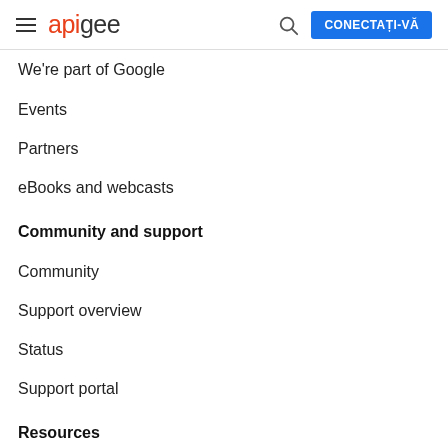apigee — CONECTAȚI-VĂ
We're part of Google
Events
Partners
eBooks and webcasts
Community and support
Community
Support overview
Status
Support portal
Resources
Developer overview